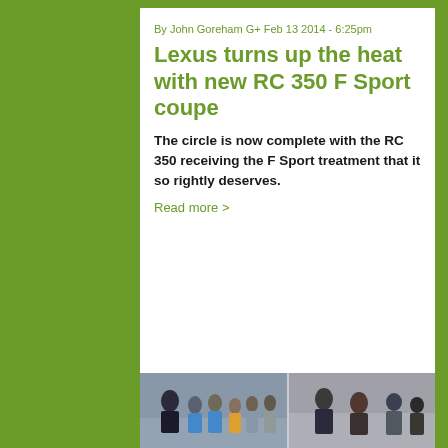By John Goreham G+ Feb 13 2014 - 6:25pm
Lexus turns up the heat with new RC 350 F Sport coupe
The circle is now complete with the RC 350 receiving the F Sport treatment that it so rightly deserves.
Read more >
[Figure (photo): Two side-by-side photos at the bottom of the article showing groups of people in an indoor setting]